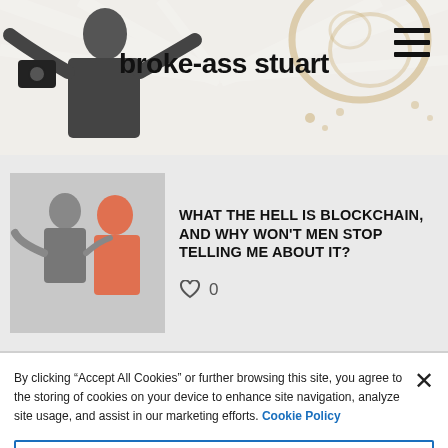[Figure (screenshot): Broke-ass Stuart website header with logo image of a person making a hand gesture, site name 'broke-ass stuart' in bold text, and hamburger menu icon]
WHAT THE HELL IS BLOCKCHAIN, AND WHY WON'T MEN STOP TELLING ME ABOUT IT?
♡ 0
By clicking “Accept All Cookies” or further browsing this site, you agree to the storing of cookies on your device to enhance site navigation, analyze site usage, and assist in our marketing efforts. Cookie Policy
Cookies Settings
Reject All
Accept All Cookies